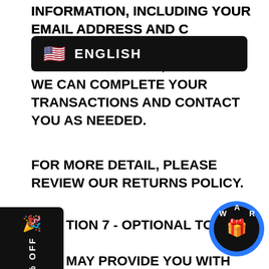INFORMATION, INCLUDING YOUR EMAIL ADDRESS AND CREDIT CARD EXPIRATION DATES, SO THAT WE CAN COMPLETE YOUR TRANSACTIONS AND CONTACT YOU AS NEEDED.
[Figure (screenshot): English language selector banner with US flag emoji and the word ENGLISH on dark background]
FOR MORE DETAIL, PLEASE REVIEW OUR RETURNS POLICY.
[Figure (screenshot): Left sidebar promotional element showing GET 15% OFF text with party popper icon on dark background]
SECTION 7 - OPTIONAL TOOLS
WE MAY PROVIDE YOU WITH ACCESS TO THIRD-PARTY TOOLS OVER WHICH WE NEITHER MONITOR NOR HAVE ANY CONTROL NOR INPUT.
YOU ACKNOWLEDGE AND AGREE THAT WE PROVIDE ACCESS TO SUCH TOOLS "AS IS" AND "AS AVAILABLE" WITHOUT ANY WARRANTIES, REPRESENTATIONS OR CONDITIONS OF ANY KIND AND WITHOUT ANY ENDORSEMENT. WE SHALL HAVE NO LIABILITY WHATSOEVER ARISING FROM OR RELATING TO YOUR USE OF
[Figure (screenshot): Dark circular gift reward badge with gift box icon, W A R letters, on blue and dark background, bottom right corner]